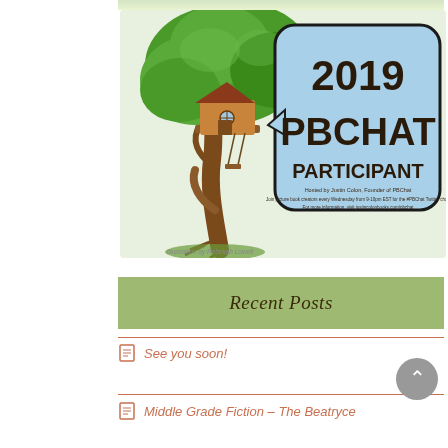[Figure (illustration): 2019 PBChat Participant badge featuring a treehouse illustrated by Rebekah Lowell, with a light blue speech bubble reading '2019 PBCHAT PARTICIPANT'. Hosted by Justin Colon, Founder of PBChat.]
Illustration by Rebekah Lowell
Recent Posts
See you soon!
Middle Grade Fiction – The Beatryce